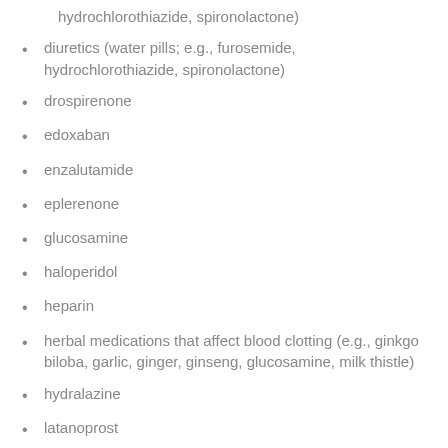diuretics (water pills; e.g., furosemide, hydrochlorothiazide, spironolactone)
drospirenone
edoxaban
enzalutamide
eplerenone
glucosamine
haloperidol
heparin
herbal medications that affect blood clotting (e.g., ginkgo biloba, garlic, ginger, ginseng, glucosamine, milk thistle)
hydralazine
latanoprost
lithium
low molecular weight heparins (e.g., dalteparin, enoxaparin, tinzaparin)
low soft...